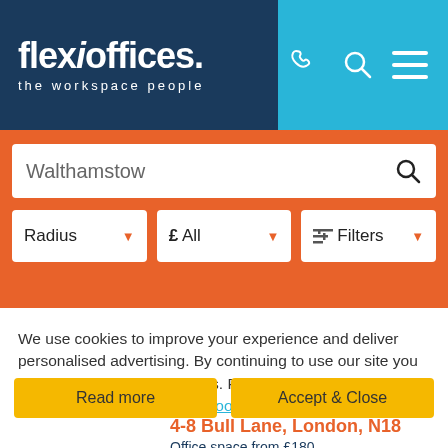[Figure (screenshot): FlexiOffices website header with logo 'flexioffices. the workspace people' in dark navy on left, and phone/search/menu icons on cyan/teal right panel]
[Figure (screenshot): Orange search bar area with 'Walthamstow' search input and Radius, £ All, and Filters dropdowns]
We use cookies to improve your experience and deliver personalised advertising. By continuing to use our site you consent to the use of cookies. Please visit our Fair Processing Notice and our Cookie Policy to learn more.
Read more
Accept & Close
4-8 Bull Lane, London, N18
Office space from £180